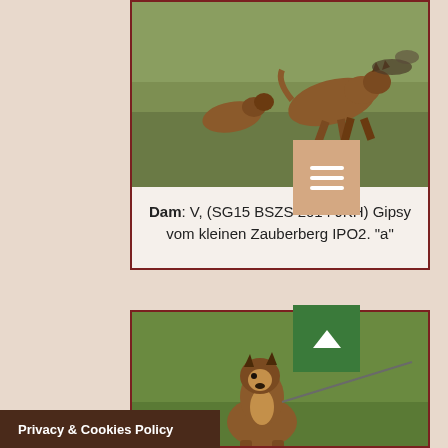[Figure (photo): German Shepherd dog running on grass field at a dog show or competition]
Dam: V, (SG15 BSZS 2014 JKH) Gipsy vom kleinen Zauberberg IPO2. "a"
[Figure (photo): German Shepherd dog sitting on leash on green grass]
Privacy & Cookies Policy